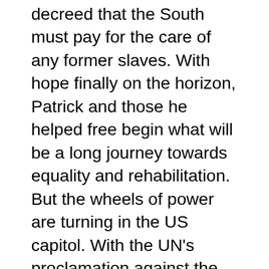decreed that the South must pay for the care of any former slaves. With hope finally on the horizon, Patrick and those he helped free begin what will be a long journey towards equality and rehabilitation. But the wheels of power are turning in the US capitol. With the UN's proclamation against the South, the President of the US sees a way to bleed the South economically dry: by keeping the former slaves under a new, more subtle form of oppression, it will force the South to continue to pay for them until they have nothing left. This conspiracy sets off a deceitful chain reaction to construct a system of ghettos that keeps former slaves in a cycle of destitution and despair, ultimately creating second class citizens. With everything they'd worked so hard to achieve on the line, Patrick and a handful of others set out to ensure